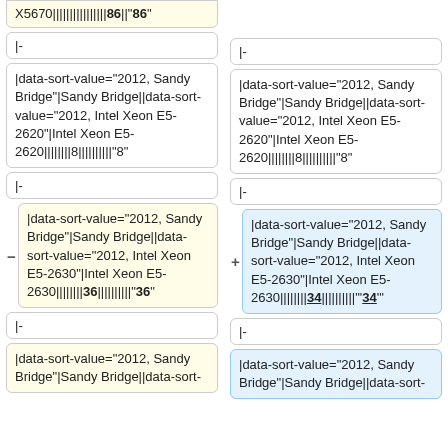X5670||||||||||||||||86||"86"
|-
|-
|data-sort-value="2012, Sandy Bridge"|Sandy Bridge||data-sort-value="2012, Intel Xeon E5-2620"|Intel Xeon E5-2620||||||||8||||||||||"8"
|data-sort-value="2012, Sandy Bridge"|Sandy Bridge||data-sort-value="2012, Intel Xeon E5-2620"|Intel Xeon E5-2620||||||||8||||||||||"8"
|-
|-
|data-sort-value="2012, Sandy Bridge"|Sandy Bridge||data-sort-value="2012, Intel Xeon E5-2630"|Intel Xeon E5-2630||||||||36||||||||||"36"
|data-sort-value="2012, Sandy Bridge"|Sandy Bridge||data-sort-value="2012, Intel Xeon E5-2630"|Intel Xeon E5-2630||||||||34||||||||||"34"
|-
|-
|data-sort-value="2012, Sandy Bridge"|Sandy Bridge||data-sort-
|data-sort-value="2012, Sandy Bridge"|Sandy Bridge||data-sort-